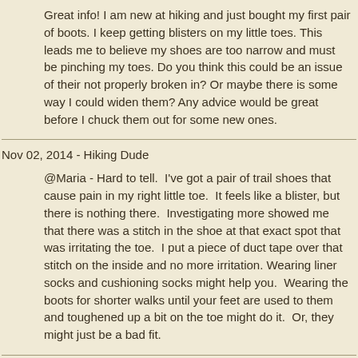Great info! I am new at hiking and just bought my first pair of boots. I keep getting blisters on my little toes. This leads me to believe my shoes are too narrow and must be pinching my toes. Do you think this could be an issue of their not properly broken in? Or maybe there is some way I could widen them? Any advice would be great before I chuck them out for some new ones.
Nov 02, 2014 - Hiking Dude
@Maria - Hard to tell.  I've got a pair of trail shoes that cause pain in my right little toe.  It feels like a blister, but there is nothing there.  Investigating more showed me that there was a stitch in the shoe at that exact spot that was irritating the toe.  I put a piece of duct tape over that stitch on the inside and no more irritation. Wearing liner socks and cushioning socks might help you.  Wearing the boots for shorter walks until your feet are used to them and toughened up a bit on the toe might do it.  Or, they might just be a bad fit.
Dec 03, 2014 - chris jenkins
love my walking sandles, cant get over how good they